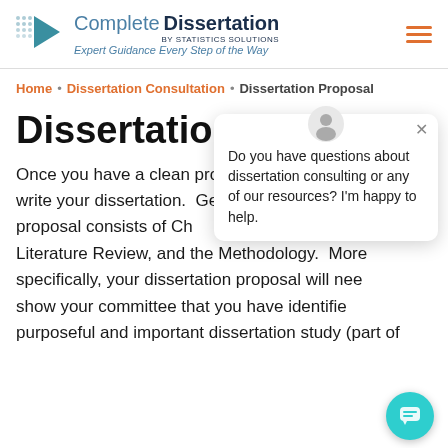[Figure (logo): Complete Dissertation by Statistics Solutions logo with teal play-button arrow icon and tagline 'Expert Guidance Every Step of the Way']
Home • Dissertation Consultation • Dissertation Proposal
Dissertation Proposal
Once you have a clean proposal, you are then ready to write your dissertation.  Generally, the dissertation proposal consists of Chapters 1-3 including the Literature Review, and the Methodology.  More specifically, your dissertation proposal will need to show your committee that you have identified a purposeful and important dissertation study (part of
[Figure (screenshot): Chat popup overlay: avatar icon, close X, text 'Do you have questions about dissertation consulting or any of our resources? I'm happy to help.' with teal chat button in bottom right corner]